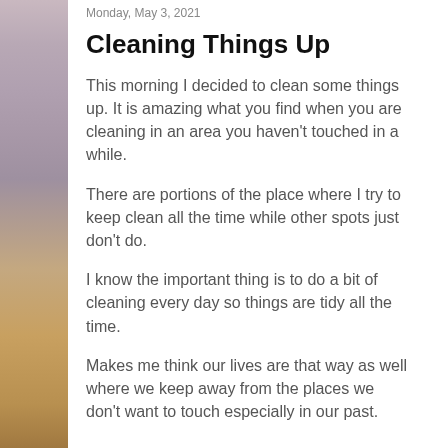[Figure (photo): Vertical strip image on the left side showing a beach/coastal landscape with sandy ground visible at the bottom and hazy sky above, rendered as a sidebar.]
Monday, May 3, 2021
Cleaning Things Up
This morning I decided to clean some things up. It is amazing what you find when you are cleaning in an area you haven't touched in a while.
There are portions of the place where I try to keep clean all the time while other spots just don't do.
I know the important thing is to do a bit of cleaning every day so things are tidy all the time.
Makes me think our lives are that way as well where we keep away from the places we don't want to touch especially in our past.